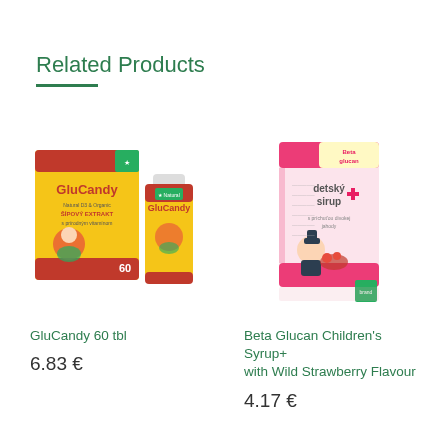Related Products
[Figure (photo): GluCandy 60 tbl product image showing a yellow box and bottle with red branding and strawberry illustration]
GluCandy 60 tbl
6.83 €
[Figure (photo): Beta Glucan Children's Syrup+ with Wild Strawberry Flavour product image showing a pink/red box with a cartoon character]
Beta Glucan Children's Syrup+ with Wild Strawberry Flavour
4.17 €